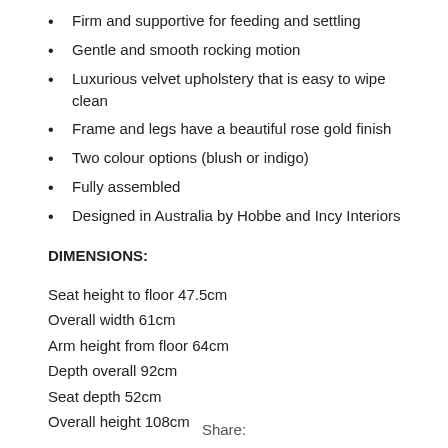Firm and supportive for feeding and settling
Gentle and smooth rocking motion
Luxurious velvet upholstery that is easy to wipe clean
Frame and legs have a beautiful rose gold finish
Two colour options (blush or indigo)
Fully assembled
Designed in Australia by Hobbe and Incy Interiors
DIMENSIONS:
Seat height to floor 47.5cm
Overall width 61cm
Arm height from floor 64cm
Depth overall 92cm
Seat depth 52cm
Overall height 108cm
Share: